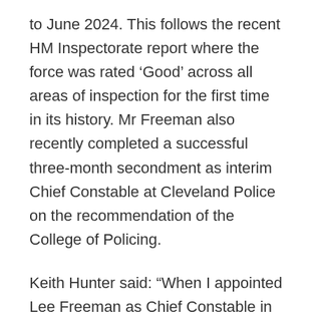to June 2024. This follows the recent HM Inspectorate report where the force was rated 'Good' across all areas of inspection for the first time in its history. Mr Freeman also recently completed a successful three-month secondment as interim Chief Constable at Cleveland Police on the recommendation of the College of Policing.
Keith Hunter said: “When I appointed Lee Freeman as Chief Constable in 2017 I set him a challenging goal to turn around the performance of the Force, which for many years